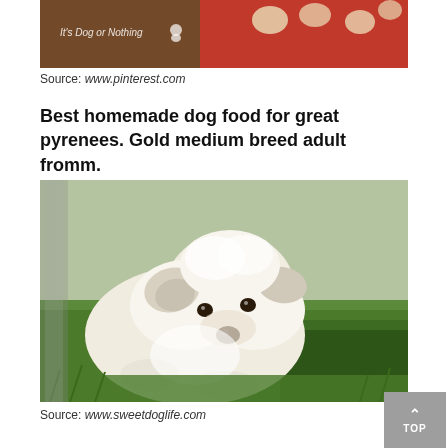[Figure (photo): Partial view of dog treats on a red tray, with 'It's Dog or Nothing' watermark and a small dog silhouette logo]
Source: www.pinterest.com
Best homemade dog food for great pyrenees. Gold medium breed adult fromm.
[Figure (photo): A fluffy white Great Pyrenees puppy lying in green grass, looking at the camera]
Source: www.sweetdoglife.com